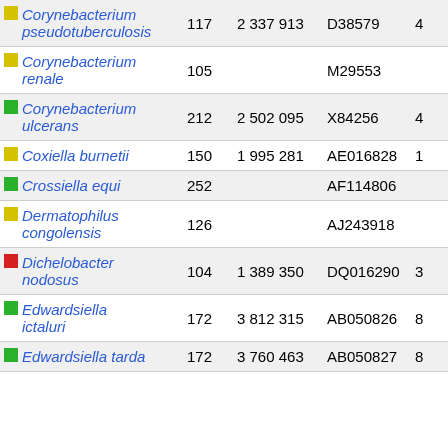| Species | Num | Bp | Accession | Count |  |
| --- | --- | --- | --- | --- | --- |
| Corynebacterium pseudotuberculosis | 117 | 2 337 913 | D38579 | 4 |  |
| Corynebacterium renale | 105 |  | M29553 |  |  |
| Corynebacterium ulcerans | 212 | 2 502 095 | X84256 | 4 |  |
| Coxiella burnetii | 150 | 1 995 281 | AE016828 | 1 |  |
| Crossiella equi | 252 |  | AF114806 |  |  |
| Dermatophilus congolensis | 126 |  | AJ243918 |  |  |
| Dichelobacter nodosus | 104 | 1 389 350 | DQ016290 | 3 |  |
| Edwardsiella ictaluri | 172 | 3 812 315 | AB050826 | 8 |  |
| Edwardsiella tarda | 172 | 3 760 463 | AB050827 | 8 |  |